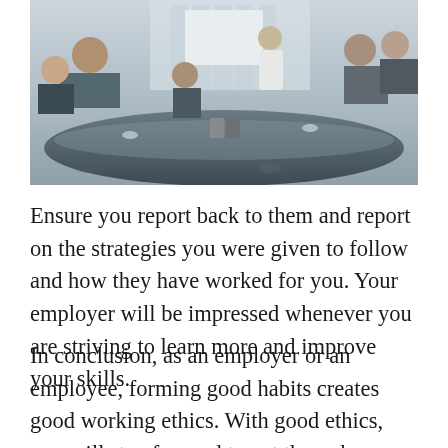[Figure (photo): Business meeting scene with several people seated around a conference table; a person in white appears to be presenting at the front of the room.]
Ensure you report back to them and report on the strategies you were given to follow and how they have worked for you. Your employer will be impressed whenever you are striving to learn more and improve your skills.
In conclusion, as an employer or an employee, forming good habits creates good working ethics. With good ethics, you will stay focused to get them done. Appreciate what you do and show a sense of responsibility.